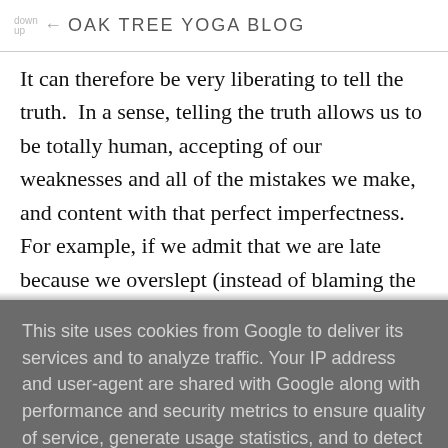OAK TREE YOGA BLOG
It can therefore be very liberating to tell the truth.  In a sense, telling the truth allows us to be totally human, accepting of our weaknesses and all of the mistakes we make, and content with that perfect imperfectness.  For example, if we admit that we are late because we overslept (instead of blaming the traffic), we are admitting to our mistake with the confidence that it doesn't have anything to do with who we are as a person.  Everybody gets up late sometimes.  We make
This site uses cookies from Google to deliver its services and to analyze traffic. Your IP address and user-agent are shared with Google along with performance and security metrics to ensure quality of service, generate usage statistics, and to detect and address abuse.
LEARN MORE    OK